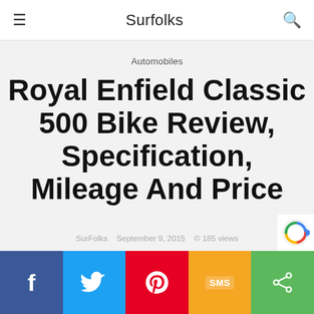Surfolks
Automobiles
Royal Enfield Classic 500 Bike Review, Specification, Mileage And Price
SurFolks   September 9, 2015   © 185 views
[Figure (other): Social sharing bar with Facebook, Twitter, Pinterest, SMS, and Share buttons]